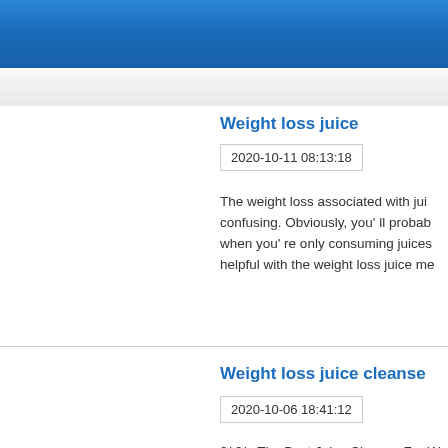Weight loss juice
2020-10-11 08:13:18
The weight loss associated with juic confusing. Obviously, you' ll probab when you' re only consuming juices helpful with the weight loss juice me
Weight loss juice cleanse
2020-10-06 18:41:12
3/ 9/ · The Best Juice Cleanse For W lose weight, you have to pay extra a one, avoid fruits that are high in. A j when it comes to weight loss. By de reducing...